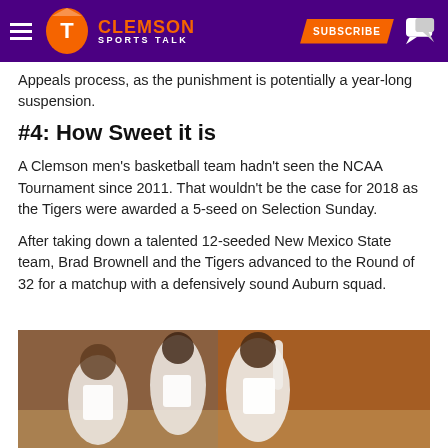Clemson Sports Talk — SUBSCRIBE
Appeals process, as the punishment is potentially a year-long suspension.
#4: How Sweet it is
A Clemson men's basketball team hadn't seen the NCAA Tournament since 2011. That wouldn't be the case for 2018 as the Tigers were awarded a 5-seed on Selection Sunday.
After taking down a talented 12-seeded New Mexico State team, Brad Brownell and the Tigers advanced to the Round of 32 for a matchup with a defensively sound Auburn squad.
[Figure (photo): Clemson basketball players celebrating on court with orange-clad fans in background]